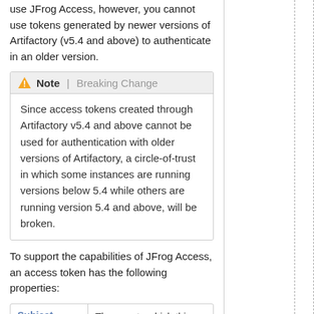use JFrog Access, however, you cannot use tokens generated by newer versions of Artifactory (v5.4 and above) to authenticate in an older version.
Note | Breaking Change

Since access tokens created through Artifactory v5.4 and above cannot be used for authentication with older versions of Artifactory, a circle-of-trust in which some instances are running versions below 5.4 while others are running version 5.4 and above, will be broken.
To support the capabilities of JFrog Access, an access token has the following properties:
| Subject |  |
| --- | --- |
| Subject | The user to which this access token is associated. If the user |